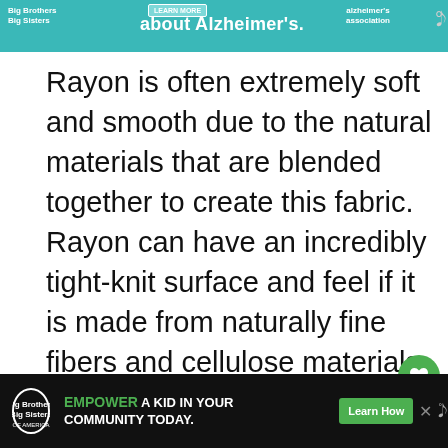[Figure (infographic): Teal/turquoise advertisement banner at top reading 'about Alzheimer's.' with Alzheimer's Association logo and a 'Learn More' button. WiFi-like icon on right.]
Rayon is often extremely soft and smooth due to the natural materials that are blended together to create this fabric. Rayon can have an incredibly tight-knit surface and feel if it is made from naturally fine fibers and cellulose materials. Cotton, linen, and bamboo are all very common, naturally occurring elements that are found in rayon.
Further, rayon can have certain absorbent qualities. This material is also moisture-
[Figure (infographic): Bottom black advertisement banner for Big Brothers Big Sisters: 'EMPOWER A KID IN YOUR COMMUNITY TODAY.' with a green 'Learn How' button.]